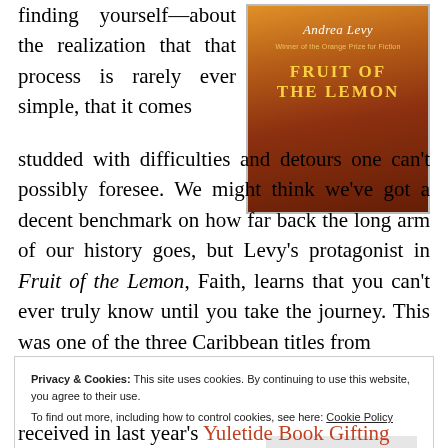finding yourself—about the realization that that process is rarely ever simple, that it comes studded with difficulties and detours one can't possibly foresee. We might think we've got a decent benchmark on how far back the long arm of our history goes, but Levy's protagonist in Fruit of the Lemon, Faith, learns that you can't ever truly know until you take the journey. This was one of the three Caribbean titles from
[Figure (photo): Book cover of 'Fruit of the Lemon' by Andrea Levy, Winner of the Orange Prize for Fiction. Dark orange and brown tones with the author's name in white and the book title in yellow capital letters.]
Privacy & Cookies: This site uses cookies. By continuing to use this website, you agree to their use. To find out more, including how to control cookies, see here: Cookie Policy
Close and accept
received in last year's Yuletide Book Gifting